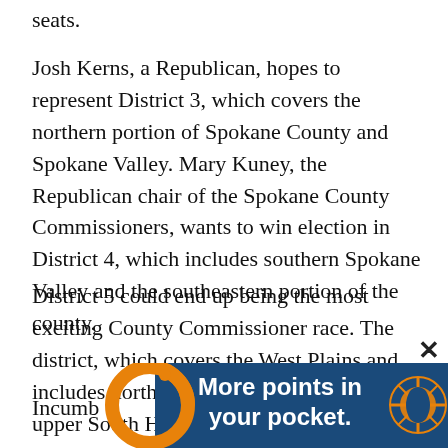seats.
Josh Kerns, a Republican, hopes to represent District 3, which covers the northern portion of Spokane County and Spokane Valley. Mary Kuney, the Republican chair of the Spokane County Commissioners, wants to win election in District 4, which includes southern Spokane Valley and the southeastern portion of the county.
District 5 could end up being the most exciting County Commissioner race. The district, which covers the West Plains and includes northwest Spokane and part of the upper South Hill, leans slightly Republican, but its voters have historically gone for both GOP and Democratic candidates.
Incumb [partially visible] who's been a [partially visible] cados
[Figure (advertisement): Advertisement banner with dark blue background reading 'More points in your pocket.' with orange circular decorative elements on left and right sides. A close/X button appears in the upper right corner of the ad.]